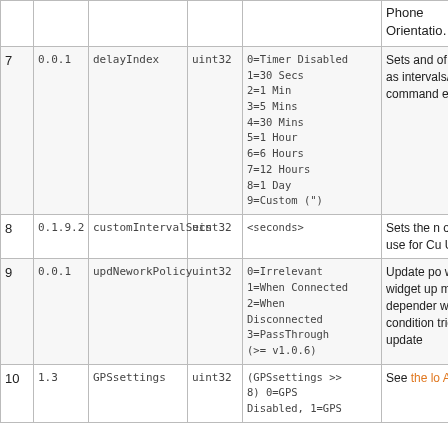| # | Ver | Name | Type | Values | Description |
| --- | --- | --- | --- | --- | --- |
|  |  |  |  |  | Phone
Orientatio… |
| 7 | 0.0.1 | delayIndex | uint32 | 0=Timer Disabled
1=30 Secs
2=1 Min
3=5 Mins
4=30 Mins
5=1 Hour
6=6 Hours
7=12 Hours
8=1 Day
9=Custom (") | Sets and of values as intervals/p for command execution |
| 8 | 0.1.9.2 | customIntervalSecs | uint32 | <seconds> | Sets the n of second use for Cu Update In |
| 9 | 0.0.1 | updNeworkPolicy | uint32 | 0=Irrelevant
1=When Connected
2=When Disconnected
3=PassThrough
(>= v1.0.6) | Update po which def widget up must be N depender what netw condition trigger the update |
| 10 | 1.3 | GPSsettings | uint32 | (GPSsettings >> 8) 0=GPS Disabled, 1=GPS… | See the lo API refere… |